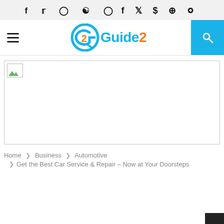f  ✓  ◎  ⊕  ◉  (social icons)
[Figure (logo): Guide2 logo with stylized G icon containing the number 2, blue text 'Guide' and orange '2', hamburger menu icon on left, search icon on right with cyan background]
[Figure (photo): Broken/unloaded image placeholder rectangle spanning full width]
Home > Business > Automotive
  > Get the Best Car Service & Repair – Now at Your Doorsteps